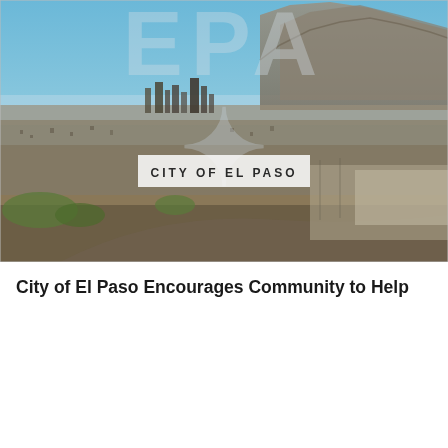[Figure (photo): Aerial drone photo of El Paso, Texas cityscape showing urban sprawl, the US-Mexico border area, mountains in the background, and a City of El Paso logo watermark overlay with EPA letters in the background]
City of El Paso Encourages Community to Help